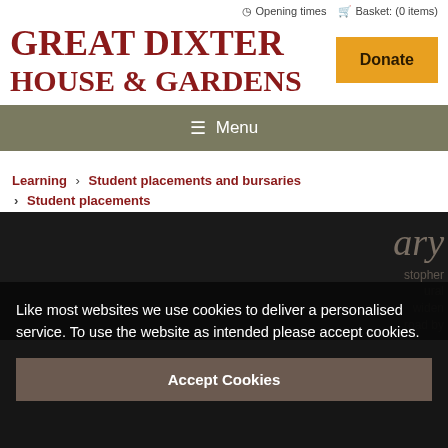Opening times  Basket: (0 items)
GREAT DIXTER HOUSE & GARDENS
Donate
≡ Menu
Learning › Student placements and bursaries › Student placements
Like most websites we use cookies to deliver a personalised service. To use the website as intended please accept cookies.
Accept Cookies